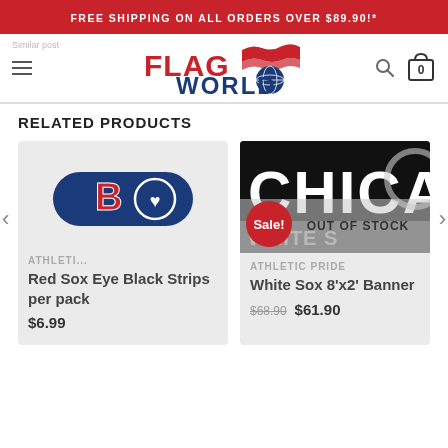FREE SHIPPING ON ALL ORDERS OVER $89.90!*
[Figure (logo): Flag World logo with American flag design]
RELATED PRODUCTS
[Figure (photo): Boston Red Sox eye black strips product - blue oval with B and heart]
ATHLETI...
Red Sox Eye Black Strips per pack
$6.99
[Figure (photo): Chicago White Sox banner - black background with CHICA text, Sale badge, Out of Stock overlay]
ATHLETIC PRIDE
White Sox 8'x2' Banner
$68.90  $61.90